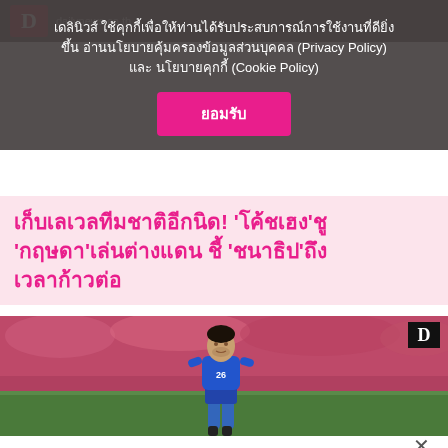เดลินิวส์ ใช้คุกกี้เพื่อให้ท่านได้รับประสบการณ์การใช้งานที่ดียิ่งขึ้น อ่านนโยบายคุ้มครองข้อมูลส่วนบุคคล (Privacy Policy) และ นโยบายคุกกี้ (Cookie Policy)
ยอมรับ
เก็บเลเวลทีมชาติอีกนิด! 'โค้ชเฮง'ชู 'กฤษดา'เล่นต่างแดน ชี้ 'ชนาธิป'ถึงเวลาก้าวต่อ
[Figure (photo): Thai national football player wearing blue jersey number 26, running on the pitch. Crowd visible in background. Dailynews watermark logo (D) in top right corner.]